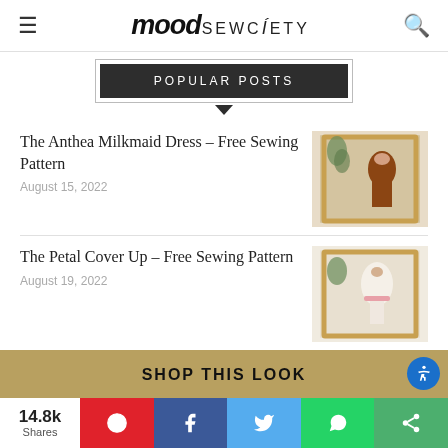mood SEWCIETY
POPULAR POSTS
The Anthea Milkmaid Dress – Free Sewing Pattern
August 15, 2022
[Figure (photo): Rust-colored milkmaid dress on mannequin in front of gold frame with greenery]
The Petal Cover Up – Free Sewing Pattern
August 19, 2022
[Figure (photo): White petal cover up with pink sash on mannequin in front of gold frame with greenery]
SHOP THIS LOOK
14.8k Shares